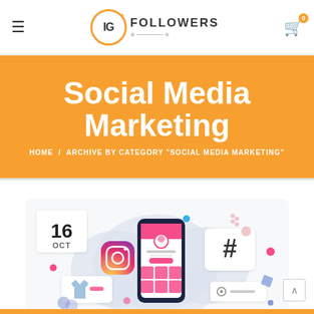IG+ FOLLOWERS — navigation bar with hamburger menu and cart icon showing 0
Social Media Marketing
HOME  /  ARCHIVE BY CATEGORY "SOCIAL MEDIA MARKETING"
[Figure (illustration): Social media marketing illustration showing a smartphone with Instagram profile, Instagram logo, hashtag icon, shopping icons, date badge showing 16 OCT, decorative dots and shapes in pink, blue, and red on a light grey bubbly background]
[Figure (logo): IG+ Followers logo with orange circle border, IG text inside, FOLLOWERS text to the right, decorative underline]